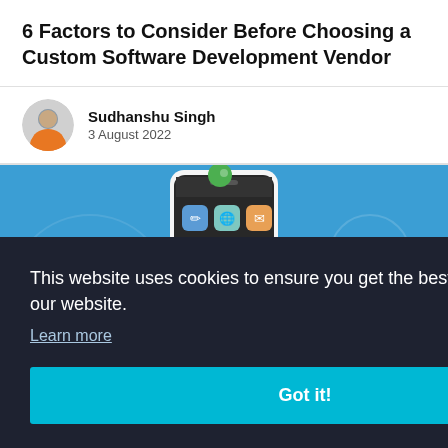6 Factors to Consider Before Choosing a Custom Software Development Vendor
Sudhanshu Singh
3 August 2022
[Figure (illustration): Blue banner illustration with a smartphone showing app icons and decorative cloud/circle shapes]
This website uses cookies to ensure you get the best experience on our website.
Learn more
Got it!